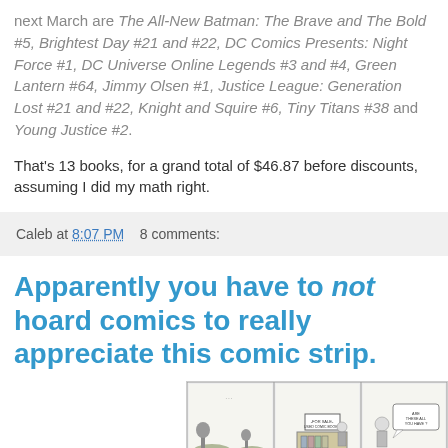next March are The All-New Batman: The Brave and The Bold #5, Brightest Day #21 and #22, DC Comics Presents: Night Force #1, DC Universe Online Legends #3 and #4, Green Lantern #64, Jimmy Olsen #1, Justice League: Generation Lost #21 and #22, Knight and Squire #6, Tiny Titans #38 and Young Justice #2.
That's 13 books, for a grand total of $46.87 before discounts, assuming I did my math right.
Caleb at 8:07 PM   8 comments:
Apparently you have to not hoard comics to really appreciate this comic strip.
[Figure (illustration): A comic strip panel showing a 'For Sale Used Comic Books' stand with a character asking 'Are these all you have?']